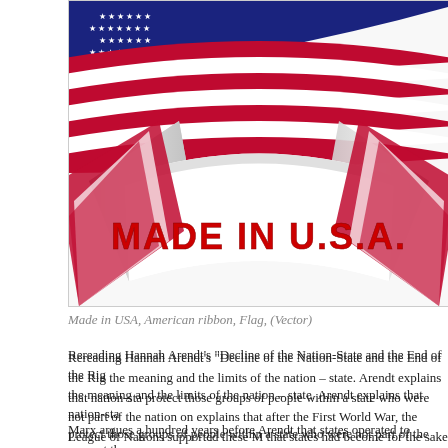[Figure (illustration): Made in USA banner with American flag ribbon design, showing red and white stripes with blue stars field, with bold red text reading 'MADE IN U.S.A.' on a white ribbon banner in the center.]
Made in USA, American ribbon, Flag, (Vector)
Rereading Hannah Arendt's “Decline of the Nation-State and the End of the Rights of Man” illuminates the meaning and the limits of the nation – state. Arendt explains that nation-states, by their nature, could not protect those groups of people within a state who were not part of the nation on whose behalf it was built. She explains that after the First World War, the League of Nations supported these Minority Treaties, which recognized that states had become for the sake of the nations they included rather than for all people within their boundaries. Because some ethnic groups were too small to warrant their own state, they were to find themselves treated as at odds with the goals of the state and so in need of Minority Treaties through the League of Nations, that would protect their rights. The difficulty of enforcing such treaties was that it required state power to enforce them even though state power was precisely what the minorities sought protection from.
Marx argues a hundred years before Arendt that states operated to support the ruling class. Trump’s America First rhetoric is that the nationalism that makes the white working